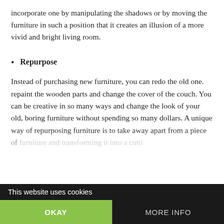incorporate one by manipulating the shadows or by moving the furniture in such a position that it creates an illusion of a more vivid and bright living room.
Repurpose
Instead of purchasing new furniture, you can redo the old one. repaint the wooden parts and change the cover of the couch. You can be creative in so many ways and change the look of your old, boring furniture without spending so many dollars. A unique way of repurposing furniture is to take away apart from a piece of furniture and transforming it into a cutti...
This website uses cookies
OKAY
MORE INFO